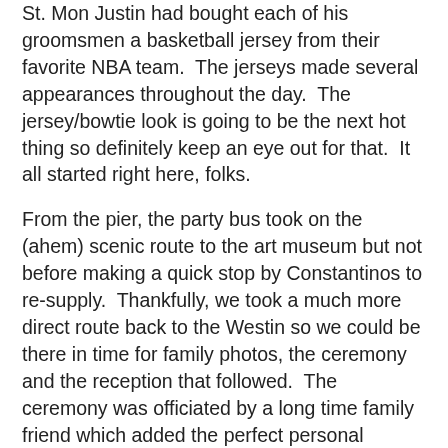St. Mon Justin had bought each of his groomsmen a basketball jersey from their favorite NBA team. The jerseys made several appearances throughout the day. The jersey/bowtie look is going to be the next hot thing so definitely keep an eye out for that. It all started right here, folks.
From the pier, the party bus took on the (ahem) scenic route to the art museum but not before making a quick stop by Constantinos to re-supply. Thankfully, we took a much more direct route back to the Westin so we could be there in time for family photos, the ceremony and the reception that followed. The ceremony was officiated by a long time family friend which added the perfect personal touch. The reception dance floor was on fire the whole night and we were able to come home with